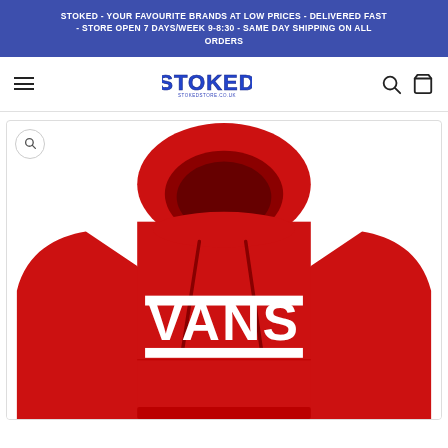STOKED - YOUR FAVOURITE BRANDS AT LOW PRICES - DELIVERED FAST - STORE OPEN 7 DAYS/WEEK 9-8:30 - SAME DAY SHIPPING ON ALL ORDERS
[Figure (logo): STOKED store logo with blue bold text and stokedstore.co.uk url]
[Figure (photo): Red Vans hoodie with white Vans logo on chest, product photo on white background]